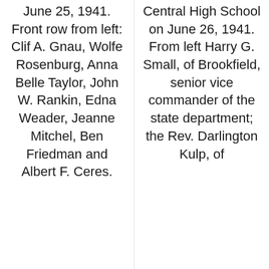June 25, 1941. Front row from left: Clif A. Gnau, Wolfe Rosenburg, Anna Belle Taylor, John W. Rankin, Edna Weader, Jeanne Mitchel, Ben Friedman and Albert F. Ceres.
Central High School on June 26, 1941. From left Harry G. Small, of Brookfield, senior vice commander of the state department; the Rev. Darlington Kulp, of